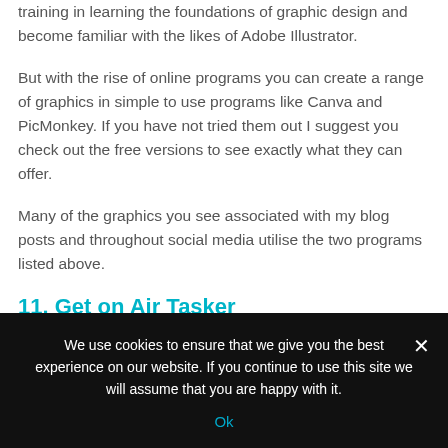training in learning the foundations of graphic design and become familiar with the likes of Adobe Illustrator.
But with the rise of online programs you can create a range of graphics in simple to use programs like Canva and PicMonkey. If you have not tried them out I suggest you check out the free versions to see exactly what they can offer.
Many of the graphics you see associated with my blog posts and throughout social media utilise the two programs listed above.
11. Get on Air Tasker
If you want to earn a little extra cash but aren't quite ready to
We use cookies to ensure that we give you the best experience on our website. If you continue to use this site we will assume that you are happy with it.
Ok